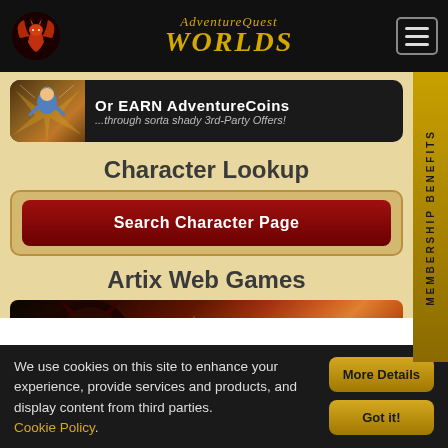AdventureQuest Worlds
[Figure (screenshot): Or EARN AdventureCoins ...through sorta shady 3rd-Party Offers! banner with character illustration]
Character Lookup
Search Character Page
Artix Web Games
[Figure (screenshot): DragonFable game banner with dark creature and flames]
[Figure (screenshot): Second game banner partially visible]
MEMBERSHIP BENEFITS
We use cookies on this site to enhance your experience, provide services and products, and display content from third parties. Cookie Policy.